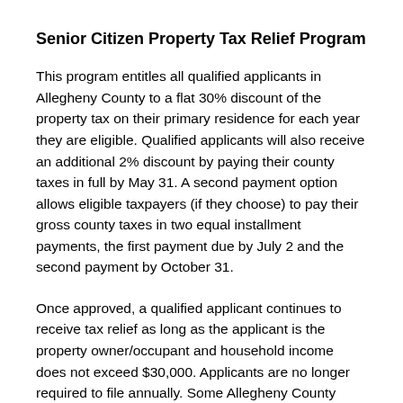Senior Citizen Property Tax Relief Program
This program entitles all qualified applicants in Allegheny County to a flat 30% discount of the property tax on their primary residence for each year they are eligible. Qualified applicants will also receive an additional 2% discount by paying their county taxes in full by May 31. A second payment option allows eligible taxpayers (if they choose) to pay their gross county taxes in two equal installment payments, the first payment due by July 2 and the second payment by October 31.
Once approved, a qualified applicant continues to receive tax relief as long as the applicant is the property owner/occupant and household income does not exceed $30,000. Applicants are no longer required to file annually. Some Allegheny County